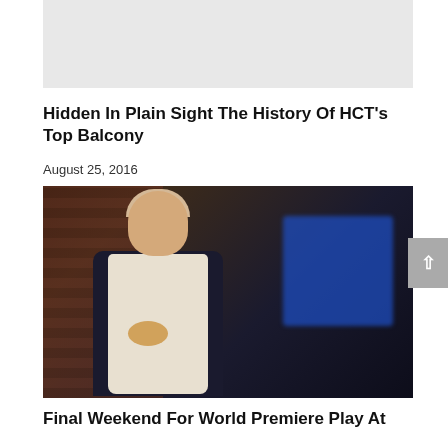[Figure (photo): Gray placeholder image at top of page]
Hidden In Plain Sight The History Of HCT's Top Balcony
August 25, 2016
[Figure (photo): Theatrical performer wearing a white apron with stains, dark dotted shirt, looking downward. Blue projected text/light visible in background, brick wall on left.]
Final Weekend For World Premiere Play At